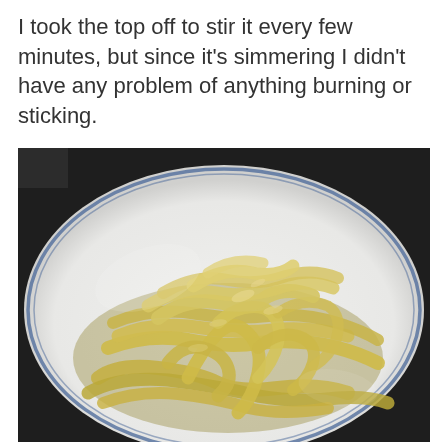I took the top off to stir it every few minutes, but since it's simmering I didn't have any problem of anything burning or sticking.
[Figure (photo): A white ceramic plate with a blue rim holding a pile of cooked flat fettuccine/tagliatelle noodles, yellowish-green in color, viewed from slightly above.]